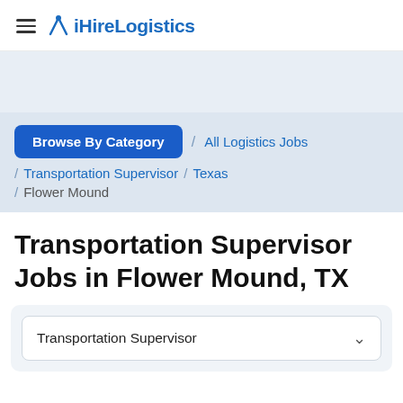iHireLogistics
Browse By Category / All Logistics Jobs / Transportation Supervisor / Texas / Flower Mound
Transportation Supervisor Jobs in Flower Mound, TX
Transportation Supervisor